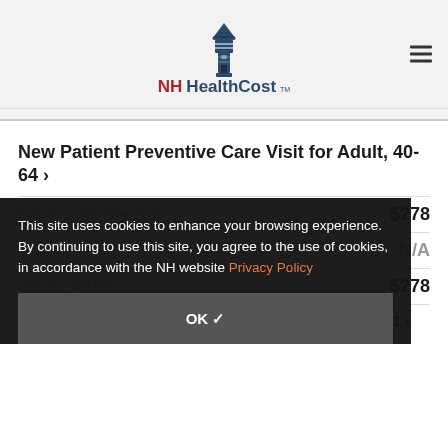NH HealthCost
New Patient Preventive Care Visit for Adult, 40-64 >
Estimate of Procedure Cost: $278
N/A
What You Will Pay: $278
This site uses cookies to enhance your browsing experience. By continuing to use this site, you agree to the use of cookies, in accordance with the NH website Privacy Policy
OK ✓
New Patient Preventive Care Visit for Child, Ages 5-11 >